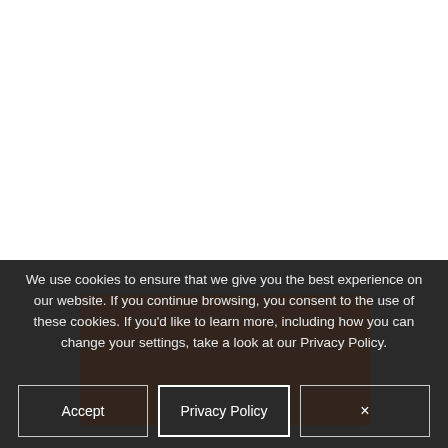[Figure (screenshot): White area at top representing a webpage content area, followed by a dark cookie consent banner overlay at the bottom with background image partially visible]
We use cookies to ensure that we give you the best experience on our website. If you continue browsing, you consent to the use of these cookies. If you'd like to learn more, including how you can change your settings, take a look at our Privacy Policy.
Accept
Privacy Policy
×